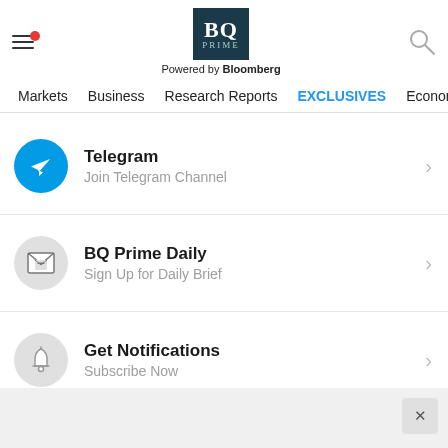[Figure (logo): BQ Prime logo powered by Bloomberg header with menu icon and search icon]
Markets   Business   Research Reports   EXCLUSIVES   Economy
Telegram – Join Telegram Channel
BQ Prime Daily – Sign Up for Daily Brief
Get Notifications – Subscribe Now